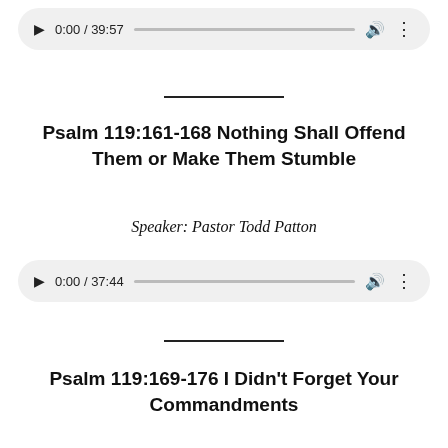[Figure (other): Audio player showing 0:00 / 39:57 with play button, progress bar, volume and menu icons on grey rounded background]
Psalm 119:161-168 Nothing Shall Offend Them or Make Them Stumble
Speaker: Pastor Todd Patton
[Figure (other): Audio player showing 0:00 / 37:44 with play button, progress bar, volume and menu icons on grey rounded background]
Psalm 119:169-176 I Didn't Forget Your Commandments